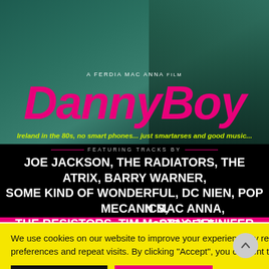[Figure (photo): Movie poster for 'Danny Boy', a Ferdia Mac Anna film. Dark teal/green background with silhouette of person holding what appears to be a guitar or instrument. Hot pink title text 'DannyBoy' in large italic font. Yellow-green italic tagline below. White text listing featured musical acts. Bottom portion black background with band names in large white bold text.]
We use cookies on our website to improve your experience by remembering your preferences and repeat visits. By clicking “Accept”, you consent to the use of cookies.
Cookie settings
ACCEPT ALL